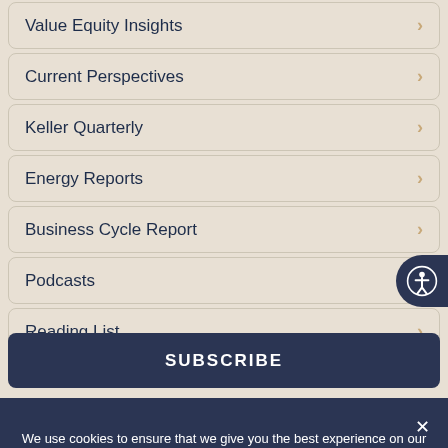Value Equity Insights
Current Perspectives
Keller Quarterly
Energy Reports
Business Cycle Report
Podcasts
Reading List
SUBSCRIBE
We use cookies to ensure that we give you the best experience on our website. If you continue to use this site we will assume that you are happy with it.
Accept